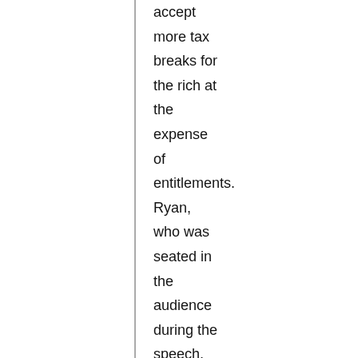accept more tax breaks for the rich at the expense of entitlements. Ryan, who was seated in the audience during the speech, later called Obama's